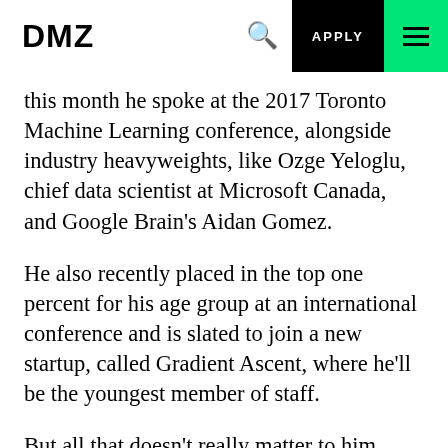DMZ  APPLY
this month he spoke at the 2017 Toronto Machine Learning conference, alongside industry heavyweights, like Ozge Yeloglu, chief data scientist at Microsoft Canada, and Google Brain's Aidan Gomez.
He also recently placed in the top one percent for his age group at an international conference and is slated to join a new startup, called Gradient Ascent, where he'll be the youngest member of staff.
But all that doesn't really matter to him. “What I really want to do is change the world,” he says. He wants to train of some of...